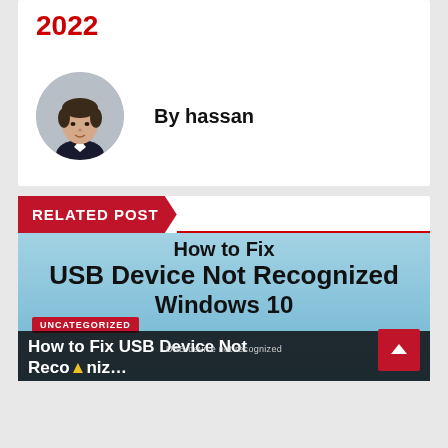2022
By hassan
[Figure (photo): Circular avatar photo of a young man in a suit jacket with white shirt, smiling slightly, on a gray background]
RELATED POST
[Figure (screenshot): Thumbnail image for article 'How to Fix USB Device Not Recognized in Windows 10' with blue background, bold black title text, red UNCATEGORIZED badge, and dark bottom overlay text reading 'How to Fix USB Device Not Recognized in...' with small label 'USB device not recognized']